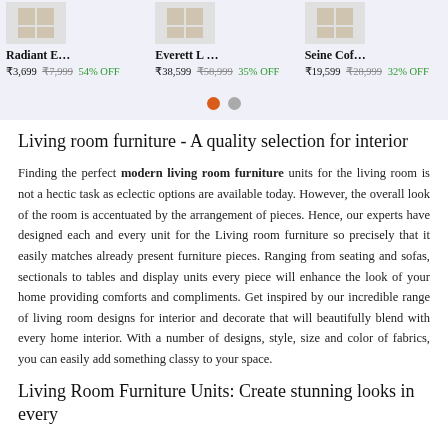[Figure (screenshot): Product listing row showing three furniture items: Radiant E..., Everett L..., Seine Cof... with prices and discount percentages on a light purple/grey background]
[Figure (other): Carousel navigation dots: one orange (active) and one grey (inactive)]
Living room furniture - A quality selection for interior
Finding the perfect modern living room furniture units for the living room is not a hectic task as eclectic options are available today. However, the overall look of the room is accentuated by the arrangement of pieces. Hence, our experts have designed each and every unit for the Living room furniture so precisely that it easily matches already present furniture pieces. Ranging from seating and sofas, sectionals to tables and display units every piece will enhance the look of your home providing comforts and compliments. Get inspired by our incredible range of living room designs for interior and decorate that will beautifully blend with every home interior. With a number of designs, style, size and color of fabrics, you can easily add something classy to your space.
Living Room Furniture Units: Create stunning looks in every